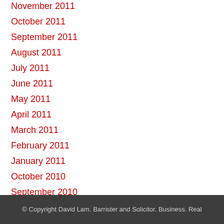November 2011
October 2011
September 2011
August 2011
July 2011
June 2011
May 2011
April 2011
March 2011
February 2011
January 2011
October 2010
September 2010
© Copyright David Lam. Barrister and Solicitor. Business. Real